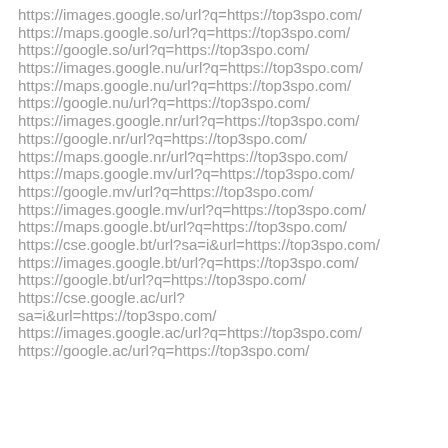https://images.google.so/url?q=https://top3spo.com/
https://maps.google.so/url?q=https://top3spo.com/
https://google.so/url?q=https://top3spo.com/
https://images.google.nu/url?q=https://top3spo.com/
https://maps.google.nu/url?q=https://top3spo.com/
https://google.nu/url?q=https://top3spo.com/
https://images.google.nr/url?q=https://top3spo.com/
https://google.nr/url?q=https://top3spo.com/
https://maps.google.nr/url?q=https://top3spo.com/
https://maps.google.mv/url?q=https://top3spo.com/
https://google.mv/url?q=https://top3spo.com/
https://images.google.mv/url?q=https://top3spo.com/
https://maps.google.bt/url?q=https://top3spo.com/
https://cse.google.bt/url?sa=i&url=https://top3spo.com/
https://images.google.bt/url?q=https://top3spo.com/
https://google.bt/url?q=https://top3spo.com/
https://cse.google.ac/url?sa=i&url=https://top3spo.com/
https://images.google.ac/url?q=https://top3spo.com/
https://google.ac/url?q=https://top3spo.com/